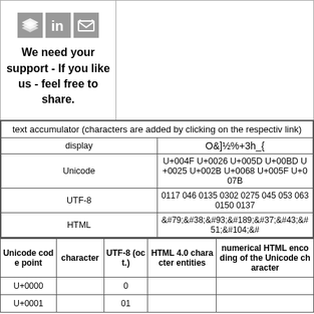[Figure (illustration): Social media icons (layered stack, LinkedIn, email/envelope) arranged in a row]
We need your support - If you like us - feel free to share.
| text accumulator (characters are added by clicking on the respective link) |
| display | O&]½%+3h_{ |
| Unicode | U+004F U+0026 U+005D U+00BD U+0025 U+002B U+0068 U+005F U+007B |
| UTF-8 | 0117 046 0135 0302 0275 045 053 063 0150 0137 |
| HTML | &#79;&#38;&#93;&#189;&#37;&#43;&#51;&#104;&# |
| Unicode code point | character | UTF-8 (oct.) | HTML 4.0 character entities | numerical HTML encoding of the Unicode character |
| --- | --- | --- | --- | --- |
| U+0000 |  | 0 |  |  |
| U+0001 |  | 01 |  |  |